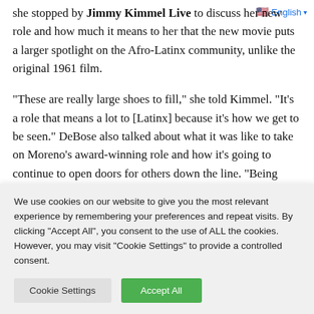she stopped by Jimmy Kimmel Live to discuss her new role and how much it means to her that the new movie puts a larger spotlight on the Afro-Latinx community, unlike the original 1961 film.
"These are really large shoes to fill," she told Kimmel. "It's a role that means a lot to [Latinx] because it's how we get to be seen." DeBose also talked about what it was like to take on Moreno's award-winning role and how it's going to continue to open doors for others down the line. "Being Afro-Latina, I'm
🇺🇸 English ▾
We use cookies on our website to give you the most relevant experience by remembering your preferences and repeat visits. By clicking "Accept All", you consent to the use of ALL the cookies. However, you may visit "Cookie Settings" to provide a controlled consent.